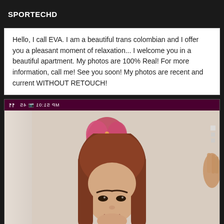SPORTECHD
Hello, I call EVA. I am a beautiful trans colombian and I offer you a pleasant moment of relaxation... I welcome you in a beautiful apartment. My photos are 100% Real! For more information, call me! See you soon! My photos are recent and current WITHOUT RETOUCH!
[Figure (photo): A selfie photo showing a person with long reddish-brown hair, with a pink artwork/painting visible on the wall behind them. A phone status bar is visible at the top of the image showing mirrored text.]